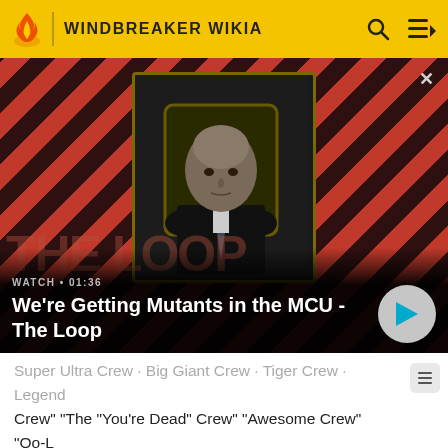WINDBREAKER WIKIA
[Figure (screenshot): Video thumbnail showing a bald man in a dark suit sitting in a chair, with a diagonal red and dark stripe background. Title reads: We're Getting Mutants in the MCU - The Loop. WATCH · 01:36]
Super Ultra Crew · Big Giant Crew · Tiger Crew · Legend Crew" "The "You're Dead" Crew" "Awesome Crew" "Oo-La La Crew" "Ultra Great" "Flash Crew" "WindBreaker" "The Hwang Jung-Min Crew" "The Goddess and Her Boy Toys" "Sunny Crew"